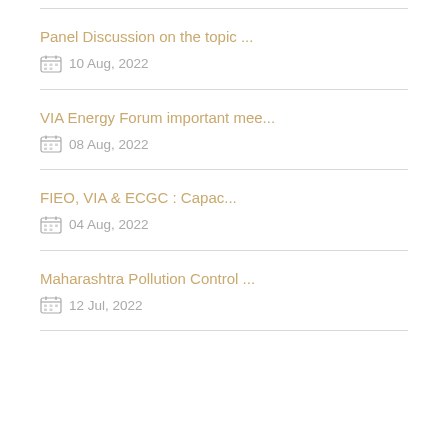Panel Discussion on the topic ...
10 Aug, 2022
VIA Energy Forum important mee...
08 Aug, 2022
FIEO, VIA & ECGC : Capac...
04 Aug, 2022
Maharashtra Pollution Control ...
12 Jul, 2022